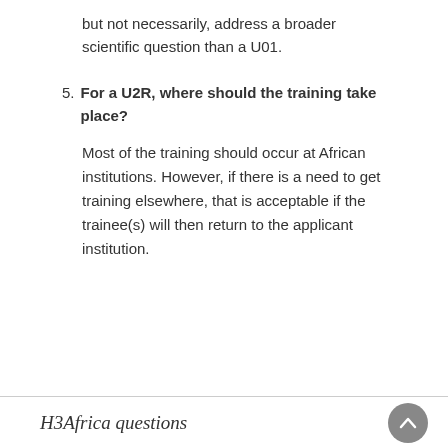but not necessarily, address a broader scientific question than a U01.
5. For a U2R, where should the training take place?
Most of the training should occur at African institutions. However, if there is a need to get training elsewhere, that is acceptable if the trainee(s) will then return to the applicant institution.
H3Africa questions